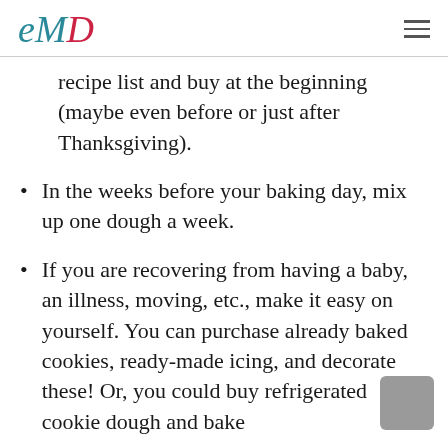eMD (logo)
recipe list and buy at the beginning (maybe even before or just after Thanksgiving).
In the weeks before your baking day, mix up one dough a week.
If you are recovering from having a baby, an illness, moving, etc., make it easy on yourself. You can purchase already baked cookies, ready-made icing, and decorate these! Or, you could buy refrigerated cookie dough and bake